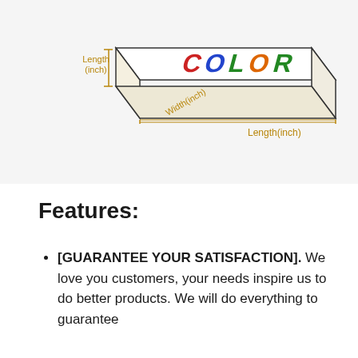[Figure (illustration): A 3D illustration of a rectangular box/cushion with the word COLOR printed on the top face in multicolored letters. Dimension annotations are shown: Length(inch) on the left side (vertical), Width(inch) on the front-left edge, and Length(inch) on the bottom-right edge, all in golden/orange color.]
Features:
[GUARANTEE YOUR SATISFACTION]. We love you customers, your needs inspire us to do better products. We will do everything to guarantee your satisfaction with our products.